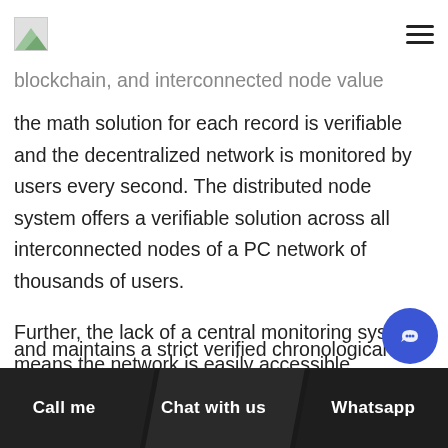the math solution for each record is verifiable and the decentralized network is monitored by users every second. The distributed node system offers a verifiable solution across all interconnected nodes of a PC network of thousands of users.
Further, the lack of a central monitoring system means the network is easily accessible. Originating with the success of the BitCoin the blockchain technology has gained popularity avoids fraudulent and maintains a strict verified chronological
Call me   Chat with us   Whatsapp